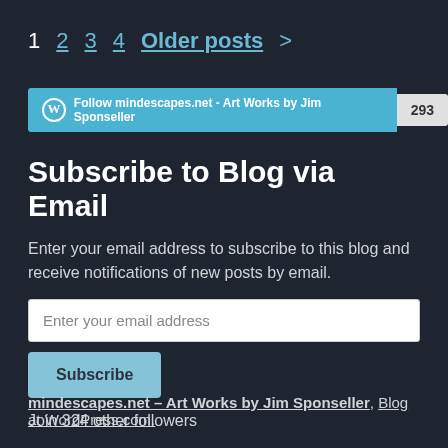1  2  3  4  Older posts >
[Figure (other): WordPress Follow button for mindescapes.net - Art Works by Jim Sponseller with follower count badge showing 293]
Subscribe to Blog via Email
Enter your email address to subscribe to this blog and receive notifications of new posts by email.
Join 324 other followers
mindescapes.net – Art Works by Jim Sponseller, Blog at WordPress.com.